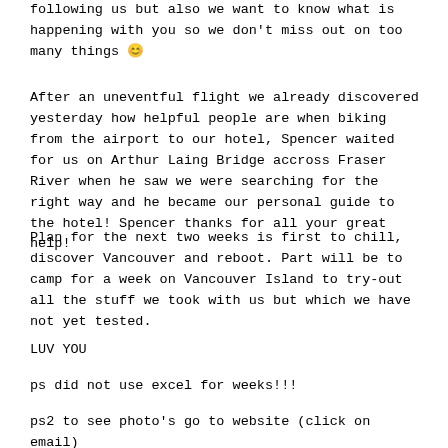following us but also we want to know what is happening with you so we don't miss out on too many things 😊
After an uneventful flight we already discovered yesterday how helpful people are when biking from the airport to our hotel, Spencer waited for us on Arthur Laing Bridge accross Fraser River when he saw we were searching for the right way and he became our personal guide to the hotel! Spencer thanks for all your great help!
Plan for the next two weeks is first to chill, discover Vancouver and reboot. Part will be to camp for a week on Vancouver Island to try-out all the stuff we took with us but which we have not yet tested.
LUV YOU
ps did not use excel for weeks!!!
ps2 to see photo's go to website (click on email)